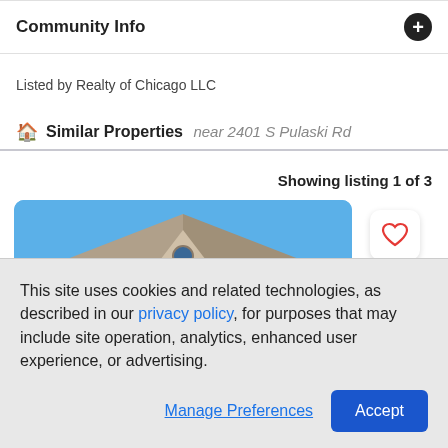Community Info
Listed by Realty of Chicago LLC
Similar Properties near 2401 S Pulaski Rd
Showing listing 1 of 3
[Figure (photo): Exterior photo of a residential house with tan/beige siding, peaked roof, and blue sky background. A heart/favorite button is visible in the upper right corner of the image.]
This site uses cookies and related technologies, as described in our privacy policy, for purposes that may include site operation, analytics, enhanced user experience, or advertising.
Manage Preferences  Accept